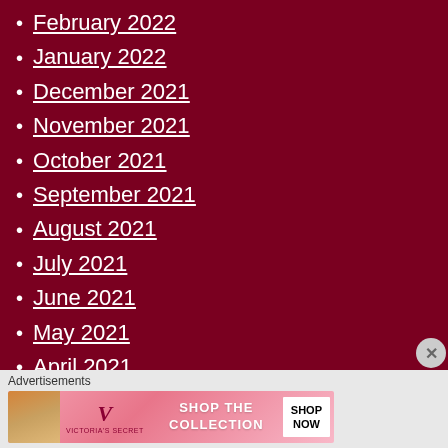February 2022
January 2022
December 2021
November 2021
October 2021
September 2021
August 2021
July 2021
June 2021
May 2021
April 2021
March 2021
February 2021
January 2021
Advertisements
[Figure (photo): Victoria's Secret advertisement banner with a woman and shop button]